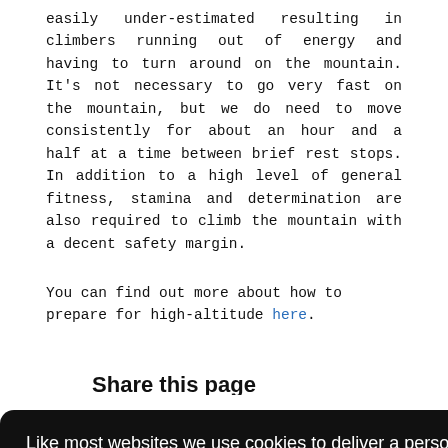easily under-estimated resulting in climbers running out of energy and having to turn around on the mountain. It's not necessary to go very fast on the mountain, but we do need to move consistently for about an hour and a half at a time between brief rest stops. In addition to a high level of general fitness, stamina and determination are also required to climb the mountain with a decent safety margin.
You can find out more about how to prepare for high-altitude here.
Share this page
Like most websites we use cookies to deliver a personalised service. To use the website as intended please accept cookies.